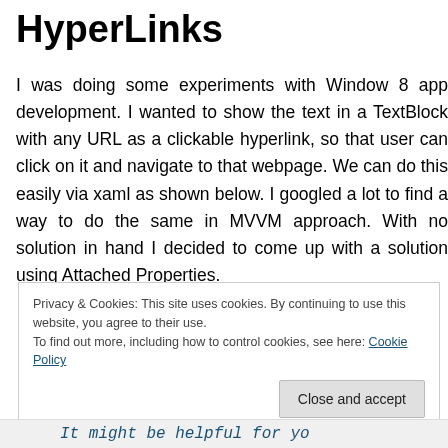HyperLinks
I was doing some experiments with Window 8 app development. I wanted to show the text in a TextBlock with any URL as a clickable hyperlink, so that user can click on it and navigate to that webpage. We can do this easily via xaml as shown below. I googled a lot to find a way to do the same in MVVM approach. With no solution in hand I decided to come up with a solution using Attached Properties.
Privacy & Cookies: This site uses cookies. By continuing to use this website, you agree to their use.
To find out more, including how to control cookies, see here: Cookie Policy
Close and accept
It might be helpful for yo